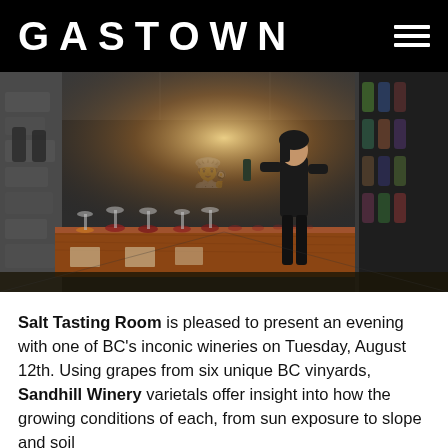GASTOWN
[Figure (photo): Interior of a wine tasting room with a long wooden bar table lined with wine glasses, a woman pouring wine, dim atmospheric lighting, stone walls, and glass wine racks on the right side.]
Salt Tasting Room is pleased to present an evening with one of BC's inconic wineries on Tuesday, August 12th. Using grapes from six unique BC vinyards, Sandhill Winery varietals offer insight into how the growing conditions of each, from sun exposure to slope and soil